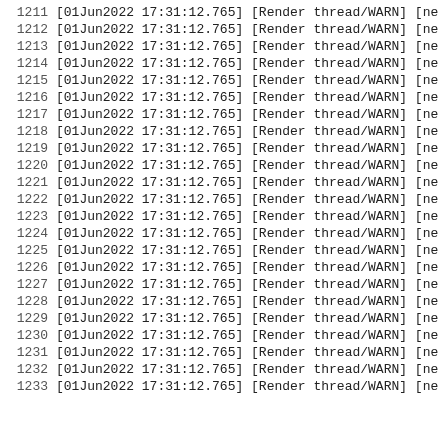1211   [01Jun2022 17:31:12.765] [Render thread/WARN] [ne
1212   [01Jun2022 17:31:12.765] [Render thread/WARN] [ne
1213   [01Jun2022 17:31:12.765] [Render thread/WARN] [ne
1214   [01Jun2022 17:31:12.765] [Render thread/WARN] [ne
1215   [01Jun2022 17:31:12.765] [Render thread/WARN] [ne
1216   [01Jun2022 17:31:12.765] [Render thread/WARN] [ne
1217   [01Jun2022 17:31:12.765] [Render thread/WARN] [ne
1218   [01Jun2022 17:31:12.765] [Render thread/WARN] [ne
1219   [01Jun2022 17:31:12.765] [Render thread/WARN] [ne
1220   [01Jun2022 17:31:12.765] [Render thread/WARN] [ne
1221   [01Jun2022 17:31:12.765] [Render thread/WARN] [ne
1222   [01Jun2022 17:31:12.765] [Render thread/WARN] [ne
1223   [01Jun2022 17:31:12.765] [Render thread/WARN] [ne
1224   [01Jun2022 17:31:12.765] [Render thread/WARN] [ne
1225   [01Jun2022 17:31:12.765] [Render thread/WARN] [ne
1226   [01Jun2022 17:31:12.765] [Render thread/WARN] [ne
1227   [01Jun2022 17:31:12.765] [Render thread/WARN] [ne
1228   [01Jun2022 17:31:12.765] [Render thread/WARN] [ne
1229   [01Jun2022 17:31:12.765] [Render thread/WARN] [ne
1230   [01Jun2022 17:31:12.765] [Render thread/WARN] [ne
1231   [01Jun2022 17:31:12.765] [Render thread/WARN] [ne
1232   [01Jun2022 17:31:12.765] [Render thread/WARN] [ne
1233   [01Jun2022 17:31:12.765] [Render thread/WARN] [ne